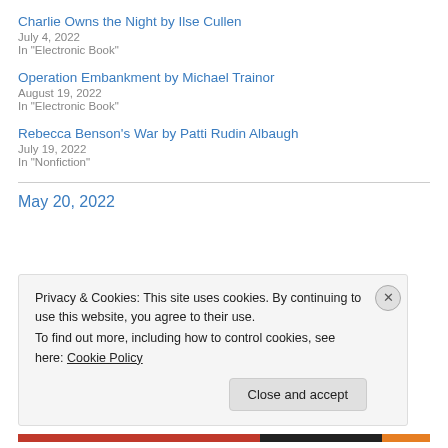Charlie Owns the Night by Ilse Cullen
July 4, 2022
In "Electronic Book"
Operation Embankment by Michael Trainor
August 19, 2022
In "Electronic Book"
Rebecca Benson's War by Patti Rudin Albaugh
July 19, 2022
In "Nonfiction"
May 20, 2022
Privacy & Cookies: This site uses cookies. By continuing to use this website, you agree to their use.
To find out more, including how to control cookies, see here: Cookie Policy